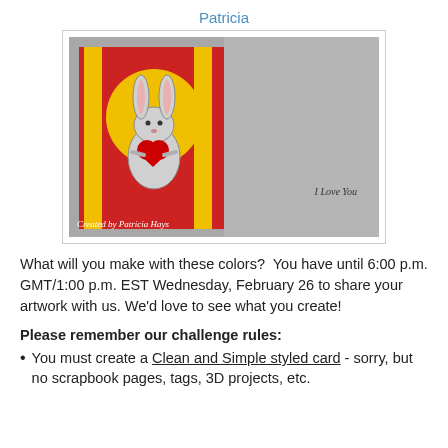Patricia
[Figure (photo): Handmade greeting card showing a bunny holding a red heart on a red and yellow background, with 'I Love You' text and 'Created by Patricia Hays' watermark]
What will you make with these colors?  You have until 6:00 p.m. GMT/1:00 p.m. EST Wednesday, February 26 to share your artwork with us. We'd love to see what you create!
Please remember our challenge rules:
You must create a Clean and Simple styled card - sorry, but no scrapbook pages, tags, 3D projects, etc.